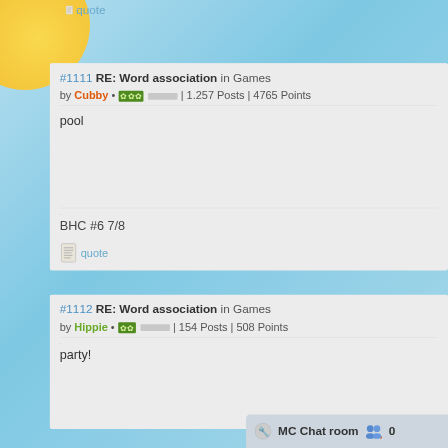quote
#1111 RE: Word association in Games
by Cubby • ☘☘☘ | 1.257 Posts | 4765 Points
pool
BHC #6 7/8
quote
#1112 RE: Word association in Games
by Hippie • ☘☘ | 154 Posts | 508 Points
party!
MC Chat room 0